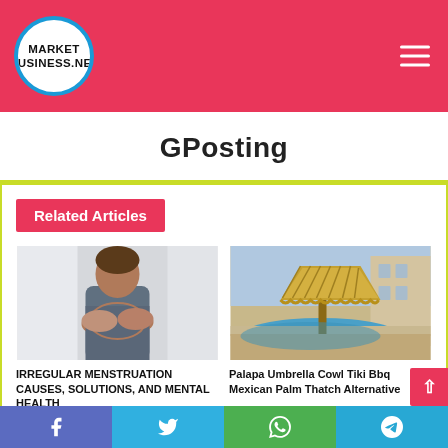[Figure (logo): Market Business .net logo — circular logo with blue ring on pink/red header background]
GPosting
Related Articles
[Figure (photo): Person holding their stomach/abdomen area, wearing a grey long-sleeve top]
IRREGULAR MENSTRUATION CAUSES, SOLUTIONS, AND MENTAL HEALTH
[Figure (photo): Palapa thatched umbrella structure over a swimming pool with building in background]
Palapa Umbrella Cowl Tiki Bbq Mexican Palm Thatch Alternative